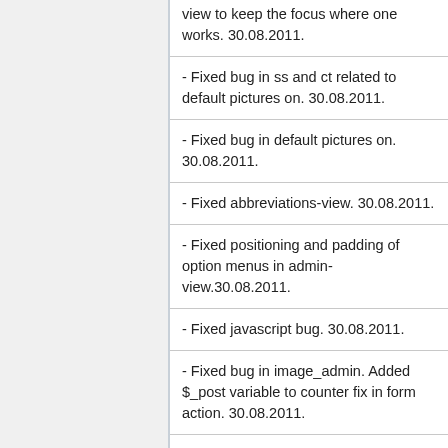view to keep the focus where one works. 30.08.2011.
- Fixed bug in ss and ct related to default pictures on. 30.08.2011.
- Fixed bug in default pictures on. 30.08.2011.
- Fixed abbreviations-view. 30.08.2011.
- Fixed positioning and padding of option menus in admin-view.30.08.2011.
- Fixed javascript bug. 30.08.2011.
- Fixed bug in image_admin. Added $_post variable to counter fix in form action. 30.08.2011.
- Fixed bug in image_admin. Corrected form action. 30.08.2011.